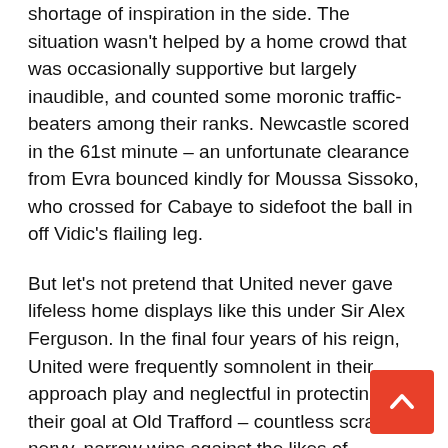shortage of inspiration in the side. The situation wasn't helped by a home crowd that was occasionally supportive but largely inaudible, and counted some moronic traffic-beaters among their ranks. Newcastle scored in the 61st minute – an unfortunate clearance from Evra bounced kindly for Moussa Sissoko, who crossed for Cabaye to sidefoot the ball in off Vidic's flailing leg.
But let's not pretend that United never gave lifeless home displays like this under Sir Alex Ferguson. In the final four years of his reign, United were frequently somnolent in their approach play and neglectful in protecting their goal at Old Trafford – countless scrappy, nervy, narrow wins against the likes of Norwich, Bolton, Hull and Sunderland in recent years will attest to this. The crucial thing, however, is that for all the wretchedness of those performances, United still managed to win these home games more often than not. It's still extremely early in Mr. Moyes's reign, and he should be given the requisite time to try to pull the club out of such a mess, but such performances – moreover, such results – suggest a lack of